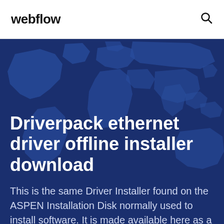webflow
[Figure (illustration): World map silhouette illustration in shades of blue, used as hero section background]
Driverpack ethernet driver offline installer download
This is the same Driver Installer found on the ASPEN Installation Disk normally used to install software. It is made available here as a download in case the